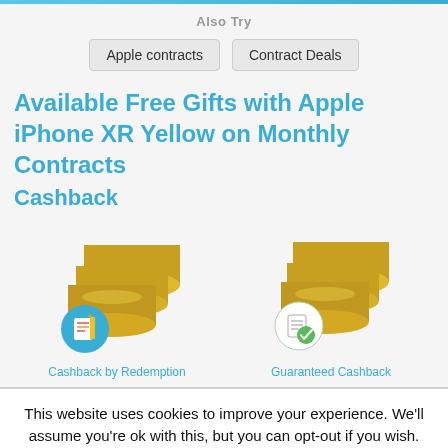Also Try
Apple contracts | Contract Deals
Available Free Gifts with Apple iPhone XR Yellow on Monthly Contracts
Cashback
[Figure (illustration): Two stacks of gold coins side by side. Left stack has a receipt/redemption icon overlay labeled 'Cashback by Redemption'. Right stack has a document/checkmark icon overlay labeled 'Guaranteed Cashback'.]
Cashback by Redemption
Guaranteed Cashback
This website uses cookies to improve your experience. We'll assume you're ok with this, but you can opt-out if you wish.
Accept | Reject | Read More